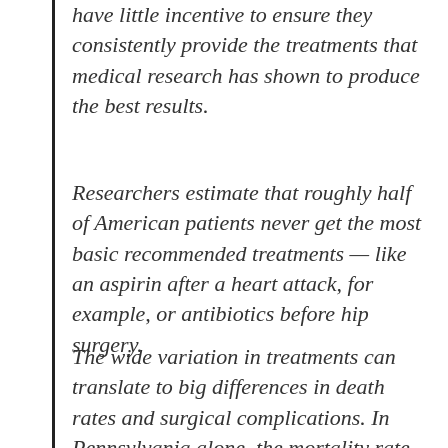have little incentive to ensure they consistently provide the treatments that medical research has shown to produce the best results.
Researchers estimate that roughly half of American patients never get the most basic recommended treatments — like an aspirin after a heart attack, for example, or antibiotics before hip surgery.
The wide variation in treatments can translate to big differences in death rates and surgical complications. In Pennsylvania alone, the mortality rate